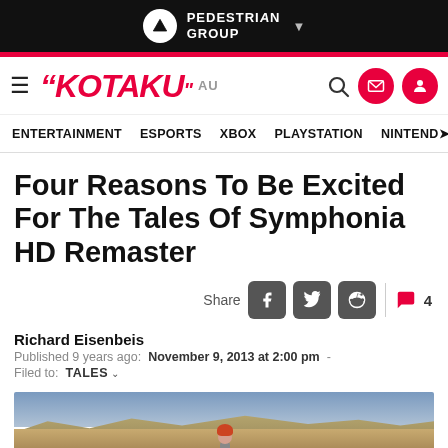PEDESTRIAN GROUP
[Figure (logo): Kotaku AU logo with navigation icons (search, email, profile)]
ENTERTAINMENT  ESPORTS  XBOX  PLAYSTATION  NINTENDO
Four Reasons To Be Excited For The Tales Of Symphonia HD Remaster
Share [Facebook] [Twitter] [Reddit] | 4 comments
Richard Eisenbeis
Published 9 years ago: November 9, 2013 at 2:00 pm
Filed to: TALES
[Figure (photo): Screenshot from Tales of Symphonia HD Remaster showing a landscape scene with hills and a character with red hair in the foreground]